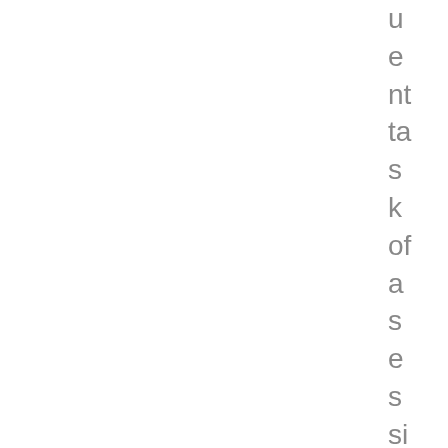u e nt ta s k of a s e s si o n st e p. A